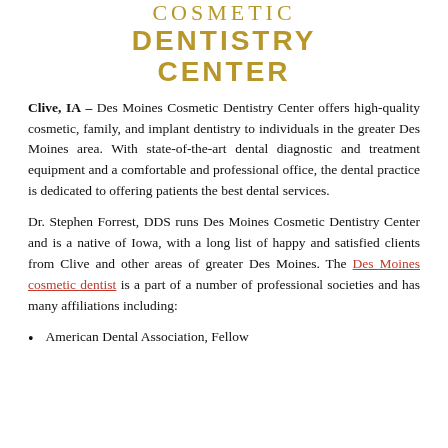[Figure (logo): Cosmetic Dentistry Center logo text in gold/yellow uppercase letters]
Clive, IA – Des Moines Cosmetic Dentistry Center offers high-quality cosmetic, family, and implant dentistry to individuals in the greater Des Moines area. With state-of-the-art dental diagnostic and treatment equipment and a comfortable and professional office, the dental practice is dedicated to offering patients the best dental services.
Dr. Stephen Forrest, DDS runs Des Moines Cosmetic Dentistry Center and is a native of Iowa, with a long list of happy and satisfied clients from Clive and other areas of greater Des Moines. The Des Moines cosmetic dentist is a part of a number of professional societies and has many affiliations including:
American Dental Association, Fellow